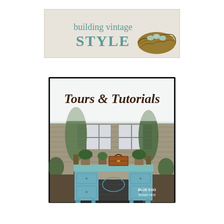[Figure (illustration): Banner graphic for 'building vintage STYLE' blog/brand. Light gray/cream background with subtle texture pattern. Text reads 'building vintage' in teal/muted teal color and 'STYLE' in large teal letters below. Right side shows a bird's nest with blue speckled eggs on a light background.]
[Figure (photo): Book cover image with black border. Title 'Tours & Tutorials' in decorative dark brown/chocolate script font at top. Below is a photograph of a vintage-style light blue/robin's egg blue painted ornate vanity desk or writing table, placed outdoors on a driveway. On top of the desk are potted topiary plants and a brown vintage suitcase. In the background is a house with shutters and garden greenery. In the lower right corner of the image is a watermark text reading 'BLUE EGG brown nest'.]